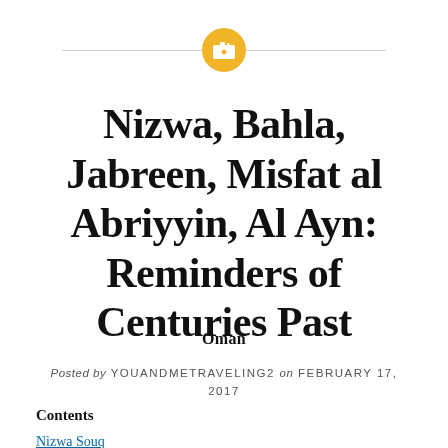[Figure (illustration): Camera icon inside a golden/yellow circle, flanked by horizontal divider lines on left and right]
Nizwa, Bahla, Jabreen, Misfat al Abriyyin, Al Ayn: Reminders of Centuries Past
Oman
Posted by YOUANDMETRAVELING2 on FEBRUARY 17, 2017
Contents
Nizwa Souq